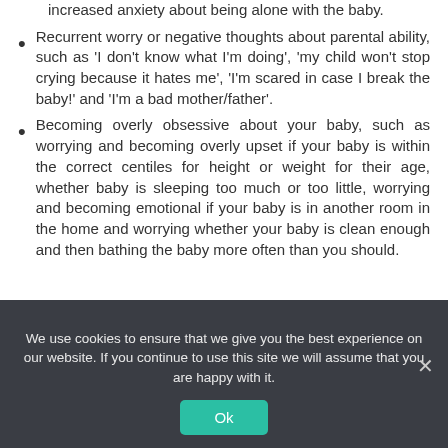Recurrent worry or negative thoughts about parental ability, such as 'I don't know what I'm doing', 'my child won't stop crying because it hates me', 'I'm scared in case I break the baby!' and 'I'm a bad mother/father'.
Becoming overly obsessive about your baby, such as worrying and becoming overly upset if your baby is within the correct centiles for height or weight for their age, whether baby is sleeping too much or too little, worrying and becoming emotional if your baby is in another room in the home and worrying whether your baby is clean enough and then bathing the baby more often than you should.
We use cookies to ensure that we give you the best experience on our website. If you continue to use this site we will assume that you are happy with it.